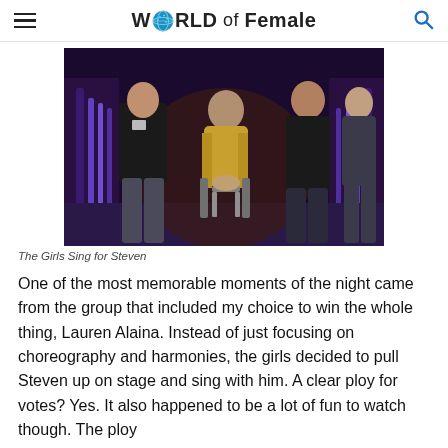WORLD of Female
[Figure (photo): Group of girls singing on stage with a man seated in the center wearing a gold/metallic top, in a TV show setting with purple stage lighting]
The Girls Sing for Steven
One of the most memorable moments of the night came from the group that included my choice to win the whole thing, Lauren Alaina. Instead of just focusing on choreography and harmonies, the girls decided to pull Steven up on stage and sing with him. A clear ploy for votes? Yes. It also happened to be a lot of fun to watch though. The ploy